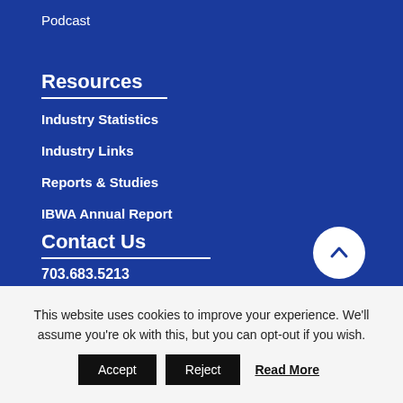Podcast
Resources
Industry Statistics
Industry Links
Reports & Studies
IBWA Annual Report
Contact Us
703.683.5213
This website uses cookies to improve your experience. We'll assume you're ok with this, but you can opt-out if you wish.
Accept | Reject | Read More